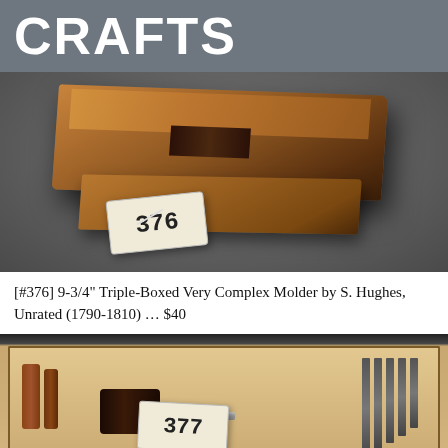CRAFTS
[Figure (photo): A wooden triple-boxed molder plane tool shown at an angle with a price tag labeled '376' attached via string, set against a grey background.]
[#376] 9-3/4" Triple-Boxed Very Complex Molder by S. Hughes, Unrated (1790-1810) ... $40
[Figure (photo): A wooden box containing various tools including screwdrivers and drill bits with a price tag labeled '377' visible inside the box.]